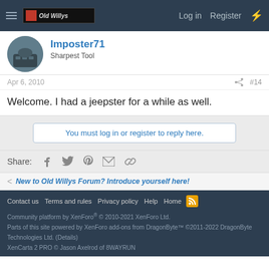Old Willys Forum — Log in | Register
Imposter71
Sharpest Tool
Apr 6, 2010  #14
Welcome. I had a jeepster for a while as well.
You must log in or register to reply here.
Share: Facebook Twitter Pinterest Email Link
New to Old Willys Forum? Introduce yourself here!
Contact us  Terms and rules  Privacy policy  Help  Home
Community platform by XenForo® © 2010-2021 XenForo Ltd.
Parts of this site powered by XenForo add-ons from DragonByte™ ©2011-2022 DragonByte Technologies Ltd. (Details)
XenCarta 2 PRO © Jason Axelrod of 8WAYRUN